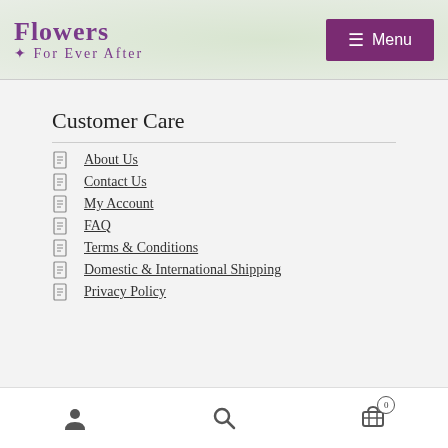Flowers For Ever After — Menu
Customer Care
About Us
Contact Us
My Account
FAQ
Terms & Conditions
Domestic & International Shipping
Privacy Policy
User | Search | Cart (0)